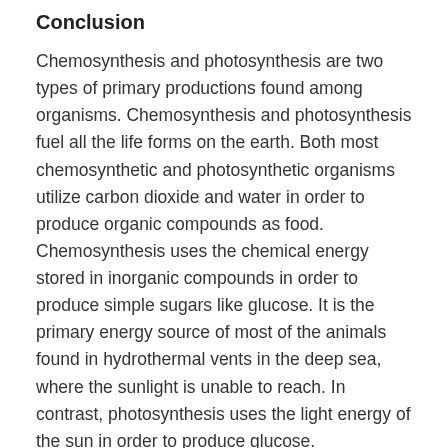Conclusion
Chemosynthesis and photosynthesis are two types of primary productions found among organisms. Chemosynthesis and photosynthesis fuel all the life forms on the earth. Both most chemosynthetic and photosynthetic organisms utilize carbon dioxide and water in order to produce organic compounds as food. Chemosynthesis uses the chemical energy stored in inorganic compounds in order to produce simple sugars like glucose. It is the primary energy source of most of the animals found in hydrothermal vents in the deep sea, where the sunlight is unable to reach. In contrast, photosynthesis uses the light energy of the sun in order to produce glucose. Chemosynthesis is mostly found in bacteria, which can either live independently on the seafloor or symbionts living inside animals like tube worms by replacing their guts. Land plants are the primary producers of most food chains on earth. However,